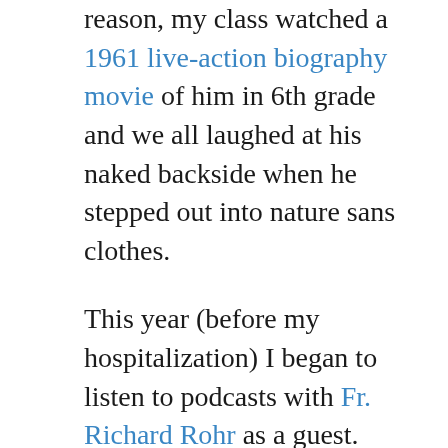reason, my class watched a 1961 live-action biography movie of him in 6th grade and we all laughed at his naked backside when he stepped out into nature sans clothes.
This year (before my hospitalization) I began to listen to podcasts with Fr. Richard Rohr as a guest. He is a Franciscan Friar in the Order of Friars Minor (OFM, Ordo Fratrum Minorum, or “Lesser Brothers”). I did not expect to be drawn to the teachings of an older, aged, Catholic leader but his emphasis on love over dogma immediately had me drawn to what he was saying and writing. In one of the podcasts he’s featured on, he mentioned that before he was even allowed to open the Bible for study he had to read a few years of philosophy...